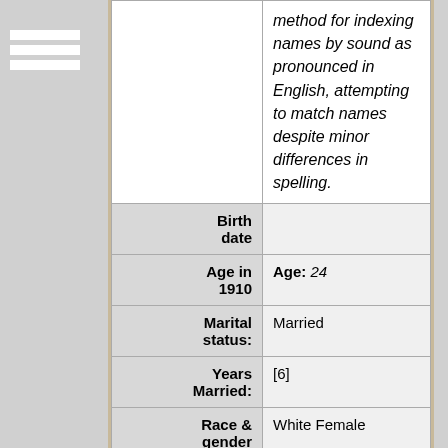| Field | Value |
| --- | --- |
|  | method for indexing names by sound as pronounced in English, attempting to match names despite minor differences in spelling. |
| Birth date |  |
| Age in 1910 | Age: 24 |
| Marital status: | Married |
| Years Married: | [6] |
| Race & gender | White Female |
| Children: | 3 |